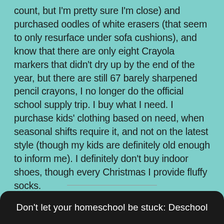count, but I'm pretty sure I'm close) and purchased oodles of white erasers (that seem to only resurface under sofa cushions), and know that there are only eight Crayola markers that didn't dry up by the end of the year, but there are still 67 barely sharpened pencil crayons, I no longer do the official school supply trip. I buy what I need. I purchase kids' clothing based on need, when seasonal shifts require it, and not on the latest style (though my kids are definitely old enough to inform me). I definitely don't buy indoor shoes, though every Christmas I provide fluffy socks.
Don't let your homeschool be stuck: Deschool